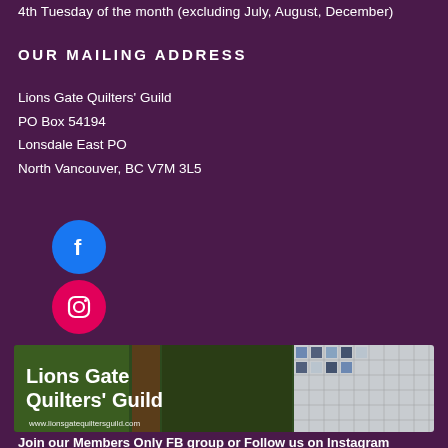4th Tuesday of the month (excluding July, August, December)
OUR MAILING ADDRESS
Lions Gate Quilters' Guild
PO Box 54194
Lonsdale East PO
North Vancouver, BC V7M 3L5
[Figure (logo): Facebook logo icon (blue circle with white F)]
[Figure (logo): Instagram logo icon (pink/magenta circle with camera outline)]
[Figure (photo): Banner image showing Lions Gate Quilters' Guild with forest and quilt background, website url www.lionsgatequiltersguild.com]
Join our Members Only FB group or Follow us on Instagram